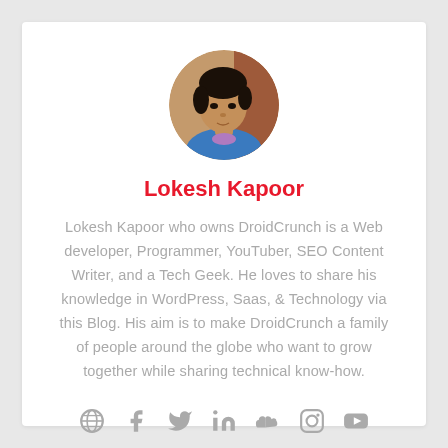[Figure (photo): Circular profile photo of Lokesh Kapoor, a young man with dark hair, facing the camera slightly downward.]
Lokesh Kapoor
Lokesh Kapoor who owns DroidCrunch is a Web developer, Programmer, YouTuber, SEO Content Writer, and a Tech Geek. He loves to share his knowledge in WordPress, Saas, & Technology via this Blog. His aim is to make DroidCrunch a family of people around the globe who want to grow together while sharing technical know-how.
[Figure (infographic): Row of social media icons: globe/website, Facebook, Twitter, LinkedIn, SoundCloud, Instagram, YouTube — all in grey.]